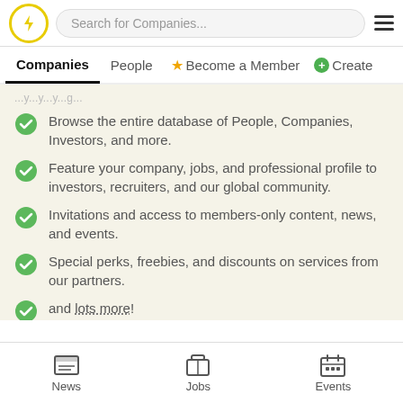Search for Companies... [navigation bar with logo, search, menu]
Companies | People | ★ Become a Member | ⊕ Create
Browse the entire database of People, Companies, Investors, and more.
Feature your company, jobs, and professional profile to investors, recruiters, and our global community.
Invitations and access to members-only content, news, and events.
Special perks, freebies, and discounts on services from our partners.
and lots more!
News | Jobs | Events